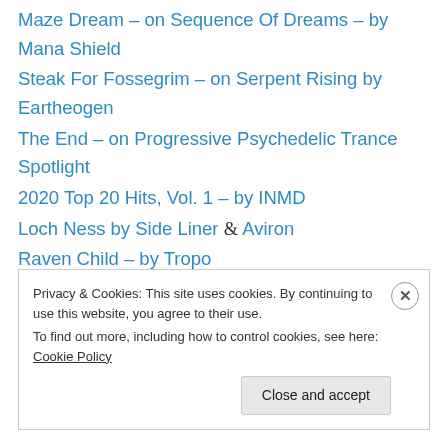Maze Dream – on Sequence Of Dreams – by Mana Shield
Steak For Fossegrim – on Serpent Rising by Eartheogen
The End – on Progressive Psychedelic Trance Spotlight
2020 Top 20 Hits, Vol. 1 – by INMD
Loch Ness by Side Liner & Aviron
Raven Child – by Tropo
In Time – by Espen & Shane Robinson
The Tributary – on Dawnlit Passage – by Arkaean
Privacy & Cookies: This site uses cookies. By continuing to use this website, you agree to their use.
To find out more, including how to control cookies, see here: Cookie Policy